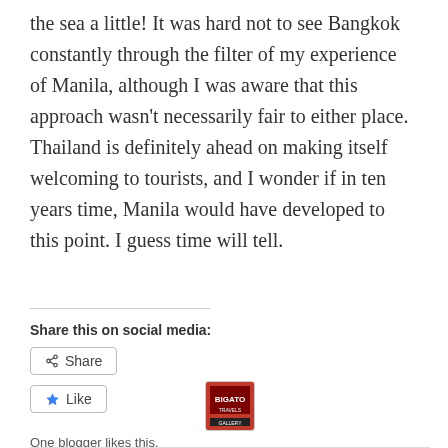the sea a little!  It was hard not to see Bangkok constantly through the filter of my experience of Manila, although I was aware that this approach wasn't necessarily fair to either place.  Thailand is definitely ahead on making itself welcoming to tourists, and I wonder if in ten years time, Manila would have developed to this point.  I guess time will tell.
Share this on social media:
Share
Like
One blogger likes this.